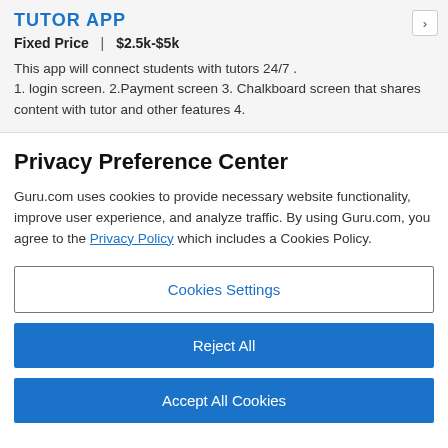TUTOR APP
Fixed Price  |  $2.5k-$5k
This app will connect students with tutors 24/7 . 1. login screen. 2.Payment screen 3. Chalkboard screen that shares content with tutor and other features 4.
Privacy Preference Center
Guru.com uses cookies to provide necessary website functionality, improve user experience, and analyze traffic. By using Guru.com, you agree to the Privacy Policy which includes a Cookies Policy.
Cookies Settings
Reject All
Accept All Cookies